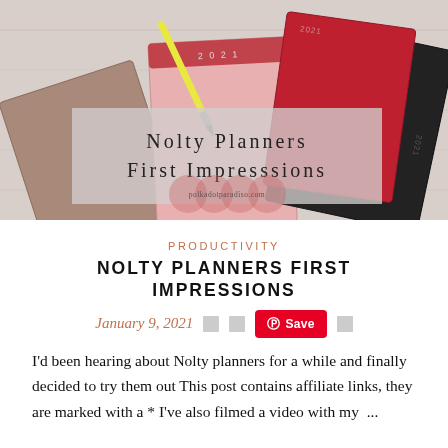[Figure (photo): Photo of three Nolty planners (tan/brown, red, black) fanned out on a white wooden surface with a yellow pen, overlaid with a semi-transparent title banner reading 'Nolty Planners First Impresssions' and watermark circles with polkadotparadiso.com]
PRODUCTIVITY
NOLTY PLANNERS FIRST IMPRESSIONS
January 9, 2021  [icons]  Save  [icon]
I'd been hearing about Nolty planners for a while and finally decided to try them out This post contains affiliate links, they are marked with a * I've also filmed a video with my  ...